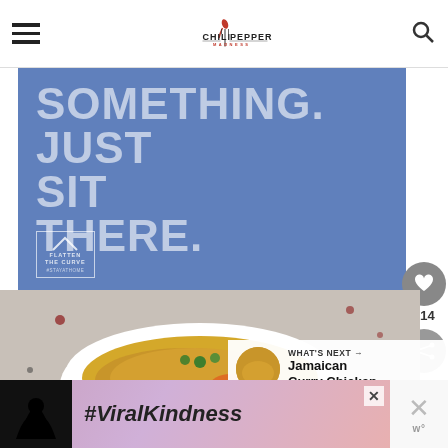Chili Pepper Madness
[Figure (infographic): Blue PSA banner with large white text reading 'SOMETHING. JUST SIT THERE.' with a Flatten The Curve logo and #StayAtHome hashtag]
[Figure (photo): Food photo showing a white bowl filled with bright yellow/turmeric-colored rice dish with carrots and herbs]
114
WHAT'S NEXT → Jamaican Curry Chicken
[Figure (infographic): Advertisement banner showing heart hands silhouette with #ViralKindness text on gradient background]